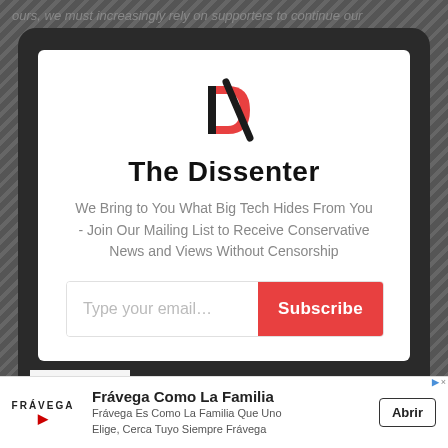ours, we must increasingly rely on supporters to continue our
[Figure (logo): The Dissenter logo: red D shape with play button and diagonal slash]
The Dissenter
We Bring to You What Big Tech Hides From You - Join Our Mailing List to Receive Conservative News and Views Without Censorship
[Figure (screenshot): Email subscription input with placeholder 'Type your email...' and a red Subscribe button]
[Figure (infographic): Frávega Como La Familia advertisement banner with Abrir button]
Frávega Como La Familia
Frávega Es Como La Familia Que Uno Elige, Cerca Tuyo Siempre Frávega